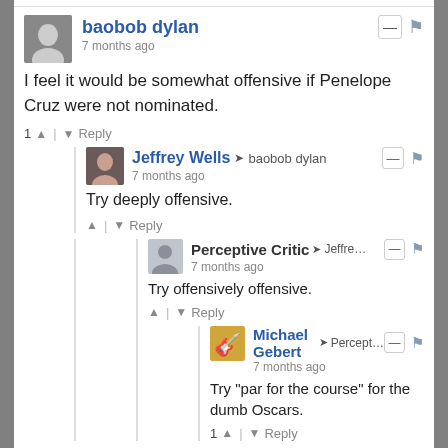baobob dylan — 7 months ago
I feel it would be somewhat offensive if Penelope Cruz were not nominated.
1 ▲ | ▼ Reply
Jeffrey Wells ➤ baobob dylan — 7 months ago
Try deeply offensive.
▲ | ▼ Reply
Perceptive Critic ➤ Jeffre… — 7 months ago
Try offensively offensive.
▲ | ▼ Reply
Michael Gebert ➤ Percept… — 7 months ago
Try "par for the course" for the dumb Oscars.
1 ▲ | ▼ Reply